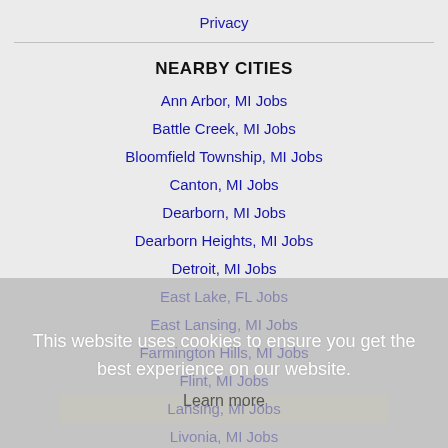Privacy
NEARBY CITIES
Ann Arbor, MI Jobs
Battle Creek, MI Jobs
Bloomfield Township, MI Jobs
Canton, MI Jobs
Dearborn, MI Jobs
Dearborn Heights, MI Jobs
Detroit, MI Jobs
East Lake, FL Jobs
East Lansing, MI Jobs
Farmington Hills, MI Jobs
Flint, MI Jobs
Lansing, MI Jobs
Livonia, MI Jobs
Midland, MI Jobs
This website uses cookies to ensure you get the best experience on our website. Learn more